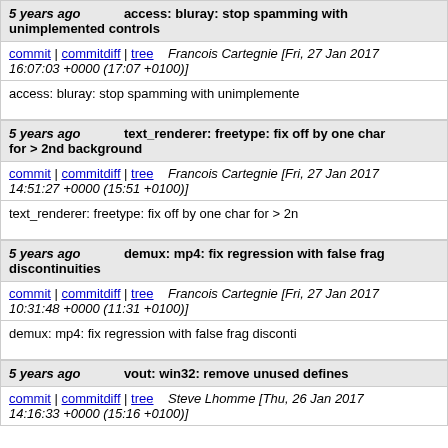5 years ago | access: bluray: stop spamming with unimplemented controls
commit | commitdiff | tree   Francois Cartegnie [Fri, 27 Jan 2017 16:07:03 +0000 (17:07 +0100)]
access: bluray: stop spamming with unimplemented controls
5 years ago | text_renderer: freetype: fix off by one char for > 2nd background
commit | commitdiff | tree   Francois Cartegnie [Fri, 27 Jan 2017 14:51:27 +0000 (15:51 +0100)]
text_renderer: freetype: fix off by one char for > 2nd background
5 years ago | demux: mp4: fix regression with false frag discontinuities
commit | commitdiff | tree   Francois Cartegnie [Fri, 27 Jan 2017 10:31:48 +0000 (11:31 +0100)]
demux: mp4: fix regression with false frag discontinuities
5 years ago | vout: win32: remove unused defines
commit | commitdiff | tree   Steve Lhomme [Thu, 26 Jan 2017 14:16:33 +0000 (15:16 +0100)]